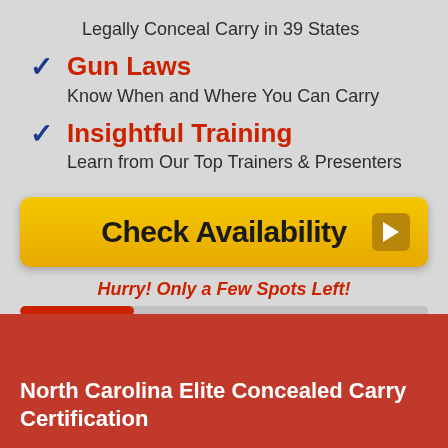Legally Conceal Carry in 39 States
Gun Laws
Know When and Where You Can Carry
Insightful Training
Learn from Our Top Trainers & Presenters
Check Availability
Hurry! Only a Few Spots Left!
North Carolina Elite Concealed Carry Certification